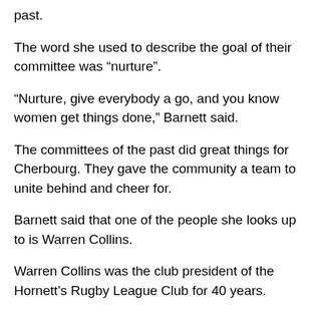past.
The word she used to describe the goal of their committee was “nurture”.
“Nurture, give everybody a go, and you know women get things done,” Barnett said.
The committees of the past did great things for Cherbourg. They gave the community a team to unite behind and cheer for.
Barnett said that one of the people she looks up to is Warren Collins.
Warren Collins was the club president of the Hornett’s Rugby League Club for 40 years.